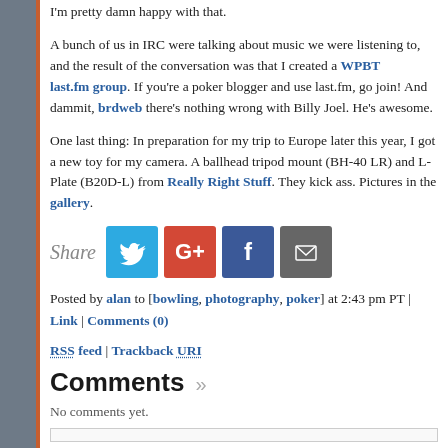I'm pretty damn happy with that.
A bunch of us in IRC were talking about music we were listening to, and the result of the conversation was that I created a WPBT last.fm group. If you're a poker blogger and use last.fm, go join! And dammit, brdweb there's nothing wrong with Billy Joel. He's awesome.
One last thing: In preparation for my trip to Europe later this year, I got a new toy for my camera. A ballhead tripod mount (BH-40 LR) and L-Plate (B20D-L) from Really Right Stuff. They kick ass. Pictures in the gallery.
[Figure (infographic): Share row with Twitter, Google+, Facebook, and email icons]
Posted by alan to [bowling, photography, poker] at 2:43 pm PT | Link | Comments (0)
RSS feed | Trackback URI
Comments »
No comments yet.